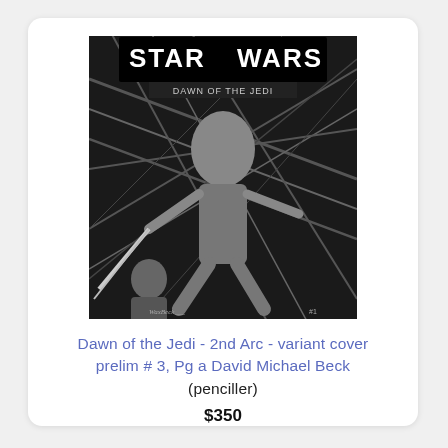[Figure (illustration): Black and white pencil illustration of a Star Wars: Dawn of the Jedi comic book cover variant. Shows a dynamic action scene with a lightsaber-wielding figure, with 'STAR WARS' logo at top and 'DAWN OF THE JEDI' subtitle. Signed by artist.]
Dawn of the Jedi - 2nd Arc - variant cover prelim # 3, Pg a David Michael Beck (penciller)
$350